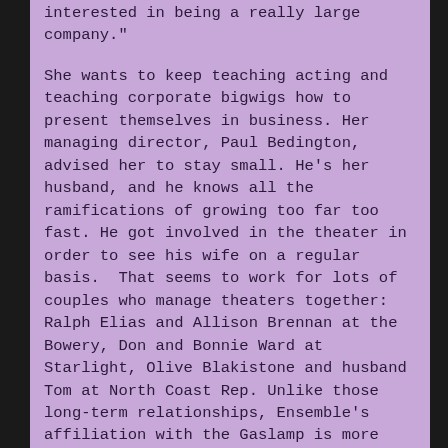interested in being a really large company."
She wants to keep teaching acting and teaching corporate bigwigs how to present themselves in business. Her managing director, Paul Bedington, advised her to stay small. He's her husband, and he knows all the ramifications of growing too far too fast. He got involved in the theater in order to see his wife on a regular basis.  That seems to work for lots of couples who manage theaters together: Ralph Elias and Allison Brennan at the Bowery, Don and Bonnie Ward at Starlight, Olive Blakistone and husband Tom at North Coast Rep. Unlike those long-term relationships, Ensemble's affiliation with the Gaslamp is more tentative and variable.
The first…